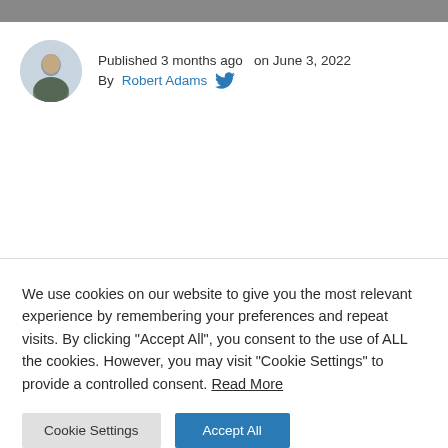Published 3 months ago  on June 3, 2022
By Robert Adams
We use cookies on our website to give you the most relevant experience by remembering your preferences and repeat visits. By clicking "Accept All", you consent to the use of ALL the cookies. However, you may visit "Cookie Settings" to provide a controlled consent. Read More
Cookie Settings   Accept All